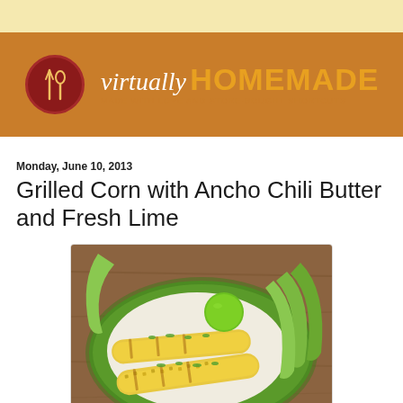virtually HOMEMADE
Monday, June 10, 2013
Grilled Corn with Ancho Chili Butter and Fresh Lime
[Figure (photo): Grilled corn on the cob with herb topping served on a white plate inside a green bowl, with limes and corn husks in the background on a wooden surface.]